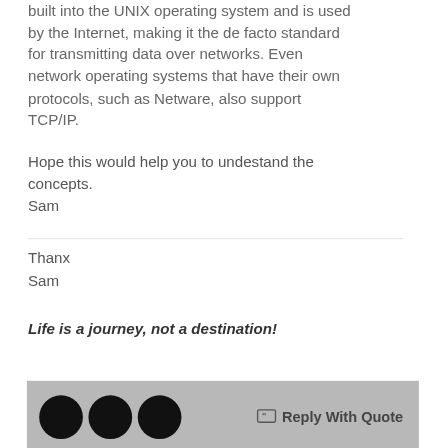built into the UNIX operating system and is used by the Internet, making it the de facto standard for transmitting data over networks. Even network operating systems that have their own protocols, such as Netware, also support TCP/IP.
Hope this would help you to undestand the concepts.
Sam
Thanx
Sam
Life is a journey, not a destination!
Reply With Quote
09-21-2015,   03:26 PM
#3
AlgaeServices